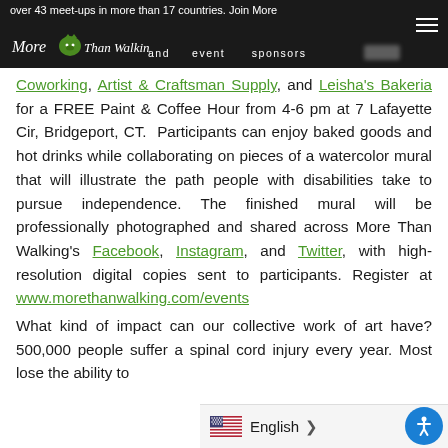over 43 meet-ups in more than 17 countries. Join More Than Walking and event sponsors [blurred] Coworking, Artist & Craftsman Supply, and Leisha's Bakeria for a FREE Paint & Coffee Hour from 4-6 pm at 7 Lafayette Cir, Bridgeport, CT.
Coworking, Artist & Craftsman Supply, and Leisha's Bakeria for a FREE Paint & Coffee Hour from 4-6 pm at 7 Lafayette Cir, Bridgeport, CT. Participants can enjoy baked goods and hot drinks while collaborating on pieces of a watercolor mural that will illustrate the path people with disabilities take to pursue independence. The finished mural will be professionally photographed and shared across More Than Walking's Facebook, Instagram, and Twitter, with high-resolution digital copies sent to participants. Register at www.morethanwalking.com/events
What kind of impact can our collective work of art have? 500,000 people suffer a spinal cord injury every year. Most lose the ability to
English